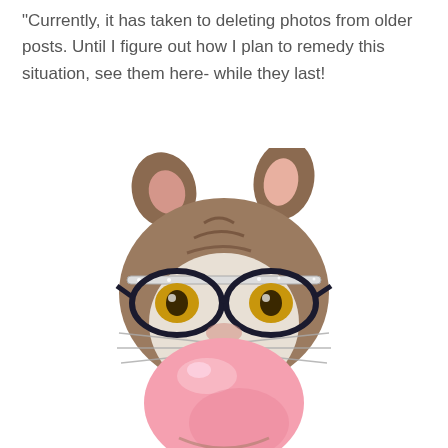Currently, it has taken to deleting photos from older posts.  Until I figure out how I plan to remedy this situation, see them here- while they last!
[Figure (illustration): Watercolor illustration of a cat wearing black-rimmed glasses and blowing a large pink bubble gum bubble, with brown tabby markings and prominent whiskers.]